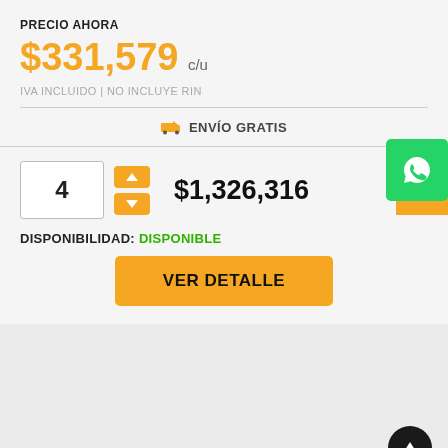PRECIO AHORA
$331,579 c/u
IVA INCLUIDO | NO INCLUYE RIN
🚚 ENVÍO GRATIS
4
$1,326,316
DISPONIBILIDAD: DISPONIBLE
VER DETALLE